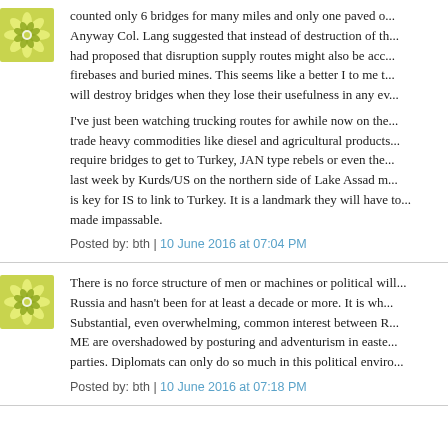[Figure (illustration): Green/yellow flower/snowflake avatar icon]
counted only 6 bridges for many miles and only one paved o... Anyway Col. Lang suggested that instead of destruction of th... had proposed that disruption supply routes might also be acc... firebases and buried mines. This seems like a better I to me t... will destroy bridges when they lose their usefulness in any ev...

I've just been watching trucking routes for awhile now on the... trade heavy commodities like diesel and agricultural products... require bridges to get to Turkey, JAN type rebels or even the... last week by Kurds/US on the northern side of Lake Assad m... is key for IS to link to Turkey. It is a landmark they will have to... made impassable.
Posted by: bth | 10 June 2016 at 07:04 PM
[Figure (illustration): Green/yellow flower/snowflake avatar icon]
There is no force structure of men or machines or political will... Russia and hasn't been for at least a decade or more. It is wh... Substantial, even overwhelming, common interest between R... ME are overshadowed by posturing and adventurism in easte... parties. Diplomats can only do so much in this political enviro...
Posted by: bth | 10 June 2016 at 07:18 PM